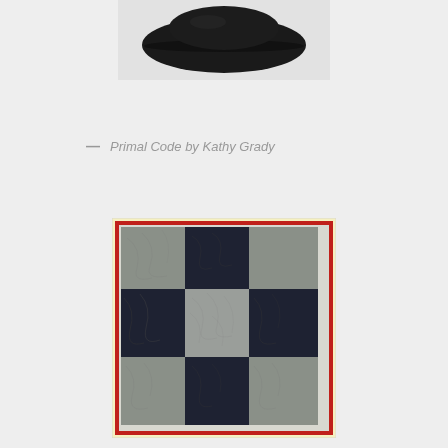[Figure (photo): Black hat or cap photographed against a light background, viewed from above/side]
— Primal Code by Kathy Grady
[Figure (photo): Quilt with a 3x3 checkerboard pattern of alternating dark navy/black and silver/gray patches, with a red binding border and intricate quilting designs visible on the fabric]